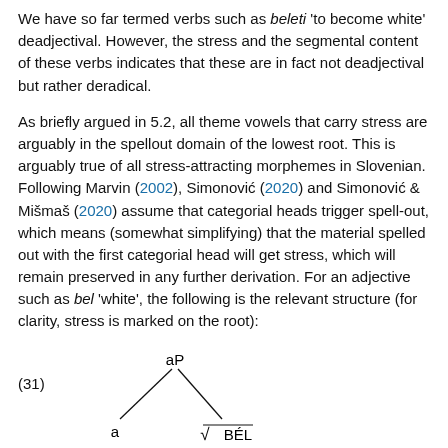We have so far termed verbs such as beleti 'to become white' deadjectival. However, the stress and the segmental content of these verbs indicates that these are in fact not deadjectival but rather deradical.
As briefly argued in 5.2, all theme vowels that carry stress are arguably in the spellout domain of the lowest root. This is arguably true of all stress-attracting morphemes in Slovenian. Following Marvin (2002), Simonović (2020) and Simonović & Mišmaš (2020) assume that categorial heads trigger spell-out, which means (somewhat simplifying) that the material spelled out with the first categorial head will get stress, which will remain preserved in any further derivation. For an adjective such as bel 'white', the following is the relevant structure (for clarity, stress is marked on the root):
[Figure (other): Linguistic tree diagram labeled (31) showing aP at the top branching into 'a' on the left and a root node with radical symbol and BÉL on the right.]
Simonović (2020) shows that this structure is preserved